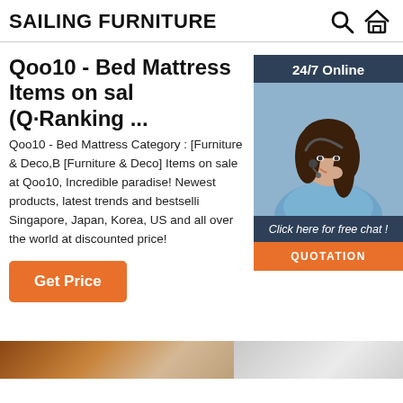SAILING FURNITURE
[Figure (infographic): 24/7 Online customer service widget with woman wearing headset, 'Click here for free chat!' text, and QUOTATION button]
Qoo10 - Bed Mattress Items on sal (Q·Ranking ...
Qoo10 - Bed Mattress Category : [Furniture & Deco,B [Furniture & Deco] Items on sale at Qoo10, Incredible paradise! Newest products, latest trends and bestselli Singapore, Japan, Korea, US and all over the world at discounted price!
[Figure (illustration): Orange 'Get Price' button]
[Figure (photo): Bottom strip showing partial furniture/mattress product images]